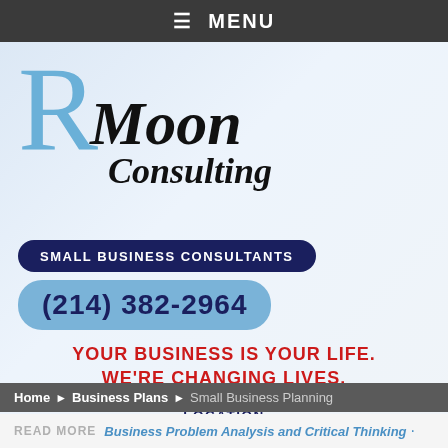≡ MENU
[Figure (logo): RM Moon Consulting logo — large blue letter R with Moon Consulting text in black italic serif]
SMALL BUSINESS CONSULTANTS
(214) 382-2964
YOUR BUSINESS IS YOUR LIFE. WE'RE CHANGING LIVES.
NATIONWIDE SERVICE FROM OUR TEXAS BASED LOCATION
Home ▶ Business Plans ▶ Small Business Planning
READ MORE  Business Problem Analysis and Critical Thinking ·